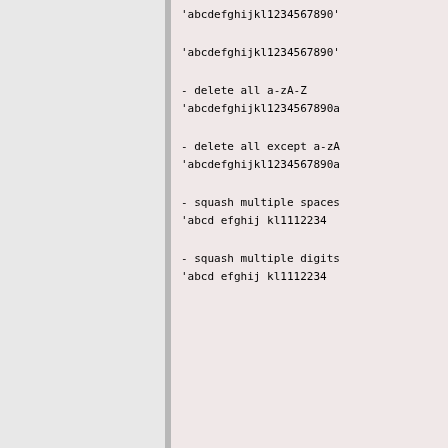[Figure (screenshot): Code block with monospace text showing string operations: delete all a-zA-Z, delete all except a-zA-Z, squash multiple spaces, squash multiple digits, with example strings 'abcdefghijkl1234567890']
copyTransliterating: oldElements to — return a copy, where elements all tra
The transiteraion works like perl's t